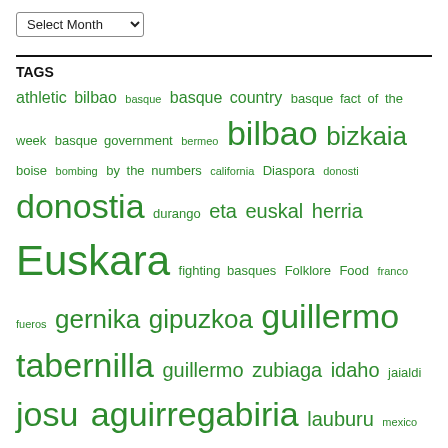Select Month (dropdown)
TAGS
athletic bilbao basque basque country basque fact of the week basque government bermeo bilbao bizkaia boise bombing by the numbers california Diaspora donosti donostia durango eta euskal herria Euskara fighting basques Folklore Food franco fueros gernika gipuzkoa guillermo tabernilla guillermo zubiaga idaho jaialdi josu aguirregabiria lauburu mexico munitibar nafarroa nafarroa beherea napoleon Nor Naiz Gu Gara pearl harbor pedro oiarzabal sancho de Beurko association san sebastian smithsonian folklife festival spanish civil war world war ii